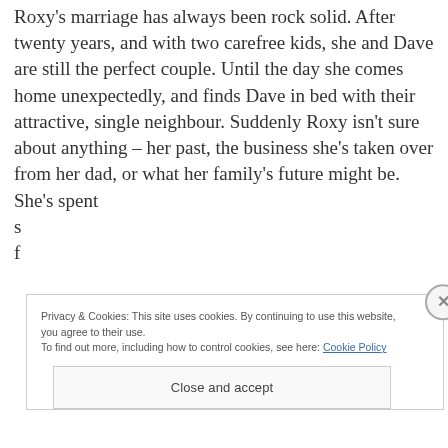Roxy's marriage has always been rock solid. After twenty years, and with two carefree kids, she and Dave are still the perfect couple. Until the day she comes home unexpectedly, and finds Dave in bed with their attractive, single neighbour. Suddenly Roxy isn't sure about anything – her past, the business she's taken over from her dad, or what her family's future might be. She's spent s... f...
Privacy & Cookies: This site uses cookies. By continuing to use this website, you agree to their use. To find out more, including how to control cookies, see here: Cookie Policy
Close and accept